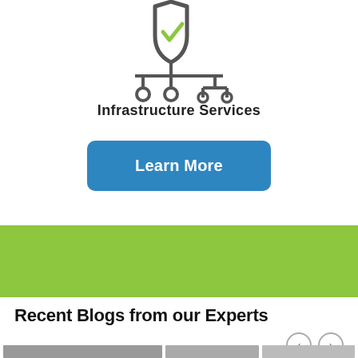[Figure (illustration): Network/infrastructure icon: a shield with a green checkmark connected to a circuit/network tree diagram with nodes, in dark gray and green.]
Infrastructure Services
Learn More
[Figure (other): Green horizontal band/banner section]
Recent Blogs from our Experts
[Figure (photo): Partial photos of groups of people (blog post thumbnails), cropped at bottom of page]